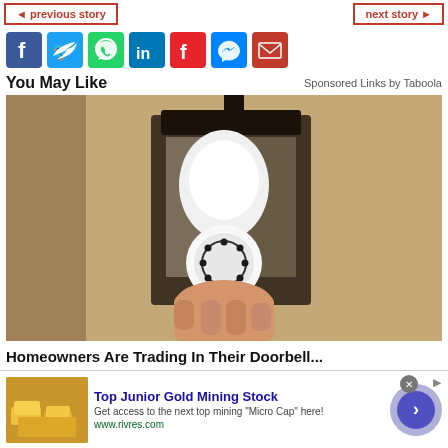◄ previous story | next story ►
[Figure (infographic): Row of social media sharing icons: Facebook (blue), Twitter (light blue), WhatsApp (green), LinkedIn (blue), Flipboard (red), Messenger (blue), Email (red)]
You May Like
Sponsored Links by Taboola
[Figure (photo): A hand installing a white security camera bulb into an outdoor wall lantern fixture mounted on a textured stucco wall]
Homeowners Are Trading In Their Doorbell...
[Figure (infographic): Advertisement banner: Top Junior Gold Mining Stock - Get access to the next top mining 'Micro Cap' here! www.rivres.com - with gold bar thumbnail image and call-to-action button]